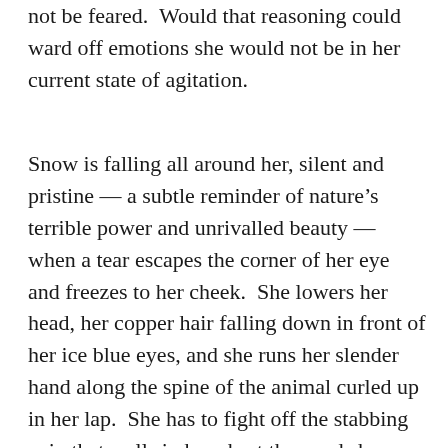not be feared.  Would that reasoning could ward off emotions she would not be in her current state of agitation.

Snow is falling all around her, silent and pristine — a subtle reminder of nature's terrible power and unrivalled beauty — when a tear escapes the corner of her eye and freezes to her cheek.  She lowers her head, her copper hair falling down in front of her ice blue eyes, and she runs her slender hand along the spine of the animal curled up in her lap.  She has to fight off the stabbing pain that wells in her chest then and she clenches her teeth in a mad effort to do so.